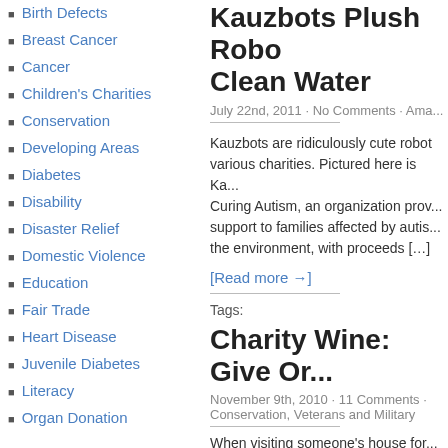Birth Defects
Breast Cancer
Cancer
Children's Charities
Conservation
Developing Areas
Diabetes
Disability
Disaster Relief
Domestic Violence
Education
Fair Trade
Heart Disease
Juvenile Diabetes
Literacy
Organ Donation
Kauzbots Plush Robo... Clean Water
July 22nd, 2011 · No Comments · Ama...
Kauzbots are ridiculously cute robot... various charities. Pictured here is Ka... Curing Autism, an organization prov... support to families affected by autis... the environment, with proceeds […]
[Read more →]
Tags:
Charity Wine: Give Or...
November 9th, 2010 · 11 Comments · Conservation, Veterans and Military
When visiting someone's house for...